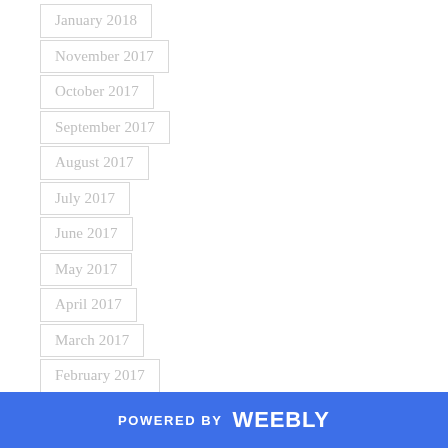January 2018
November 2017
October 2017
September 2017
August 2017
July 2017
June 2017
May 2017
April 2017
March 2017
February 2017
January 2017
December 2016
November 2016
POWERED BY weebly